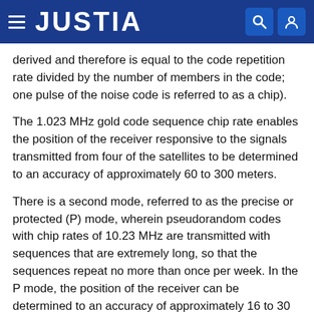JUSTIA
derived and therefore is equal to the code repetition rate divided by the number of members in the code; one pulse of the noise code is referred to as a chip).
The 1.023 MHz gold code sequence chip rate enables the position of the receiver responsive to the signals transmitted from four of the satellites to be determined to an accuracy of approximately 60 to 300 meters.
There is a second mode, referred to as the precise or protected (P) mode, wherein pseudorandom codes with chip rates of 10.23 MHz are transmitted with sequences that are extremely long, so that the sequences repeat no more than once per week. In the P mode, the position of the receiver can be determined to an accuracy of approximately 16 to 30 meters. However, the P mode requires Government classified information about how the receiver is programed and is intended for